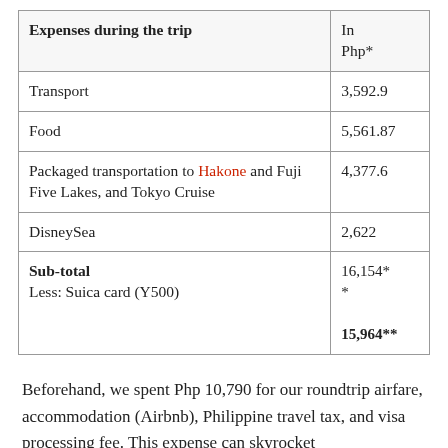| Expenses during the trip | In Php* |
| --- | --- |
| Transport | 3,592.9 |
| Food | 5,561.87 |
| Packaged transportation to Hakone and Fuji Five Lakes, and Tokyo Cruise | 4,377.6 |
| DisneySea | 2,622 |
| Sub-total
Less: Suica card (Y500) | 16,154**
15,964** |
Beforehand, we spent Php 10,790 for our roundtrip airfare, accommodation (Airbnb), Philippine travel tax, and visa processing fee. This expense can skyrocket